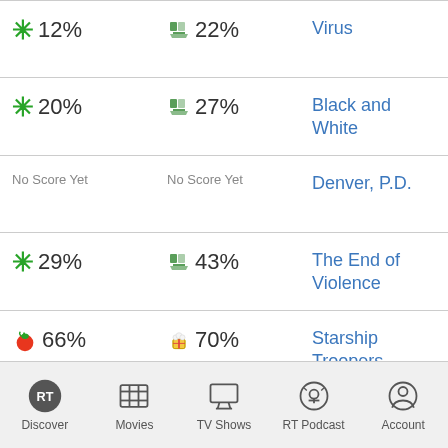12% (tomatometer) | 22% (audience) | Virus
20% (tomatometer) | 27% (audience) | Black and White
No Score Yet | No Score Yet | Denver, P.D.
29% (tomatometer) | 43% (audience) | The End of Violence
66% (tomatometer) | 70% (audience) | Starship Troopers
Discover | Movies | TV Shows | RT Podcast | Account